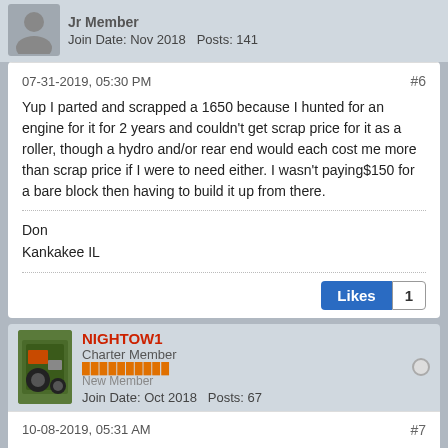Jr Member
Join Date: Nov 2018   Posts: 141
07-31-2019, 05:30 PM   #6
Yup I parted and scrapped a 1650 because I hunted for an engine for it for 2 years and couldn't get scrap price for it as a roller, though a hydro and/or rear end would each cost me more than scrap price if I were to need either. I wasn't paying$150 for a bare block then having to build it up from there.
Don
Kankakee IL
Likes   1
NIGHTOW1
Charter Member
New Member
Join Date: Oct 2018   Posts: 67
10-08-2019, 05:31 AM   #7
$150 sounds fair for a K341 block. Considering what you end.up with.
ebay head and rod $75 to 120.